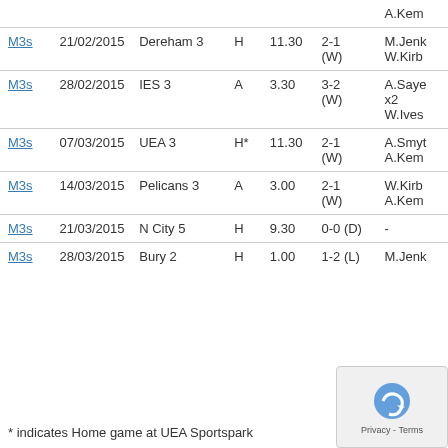| Team | Date | Opponent | H/A | Time | Score | Scorers |
| --- | --- | --- | --- | --- | --- | --- |
| M3s |  |  |  |  |  | A.Kem |
| M3s | 21/02/2015 | Dereham 3 | H | 11.30 | 2-1 (W) | M.Jenk W.Kirb |
| M3s | 28/02/2015 | IES 3 | A | 3.30 | 3-2 (W) | A.Saye x2 W.Ives |
| M3s | 07/03/2015 | UEA 3 | H* | 11.30 | 2-1 (W) | A.Smyt A.Kem |
| M3s | 14/03/2015 | Pelicans 3 | A | 3.00 | 2-1 (W) | W.Kirb A.Kem |
| M3s | 21/03/2015 | N City 5 | H | 9.30 | 0-0 (D) | - |
| M3s | 28/03/2015 | Bury 2 | H | 1.00 | 1-2 (L) | M.Jenk |
* indicates Home game at UEA Sportspark